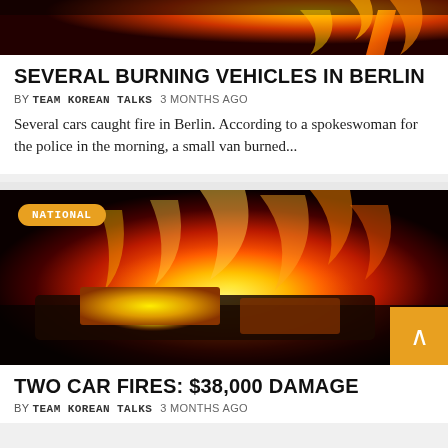[Figure (photo): Top portion of burning vehicle image, dark orange and fire tones at top of page]
SEVERAL BURNING VEHICLES IN BERLIN
BY TEAM KOREAN TALKS   3 MONTHS AGO
Several cars caught fire in Berlin. According to a spokeswoman for the police in the morning, a small van burned...
[Figure (photo): A car intensely on fire at night — bright orange and yellow flames engulf the vehicle roof and windows, with NATIONAL badge overlay and scroll-to-top button]
TWO CAR FIRES: $38,000 DAMAGE
BY TEAM KOREAN TALKS   3 MONTHS AGO